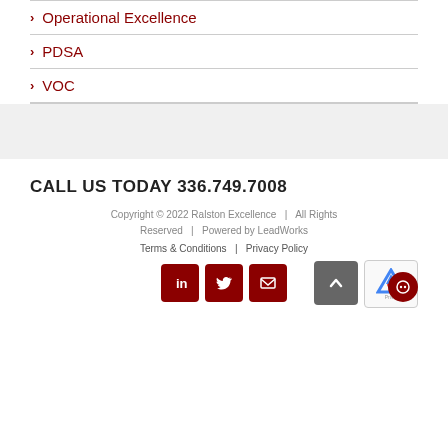> Operational Excellence
> PDSA
> VOC
CALL US TODAY 336.749.7008
Copyright © 2022 Ralston Excellence  |  All Rights Reserved  |  Powered by LeadWorks
Terms & Conditions | Privacy Policy